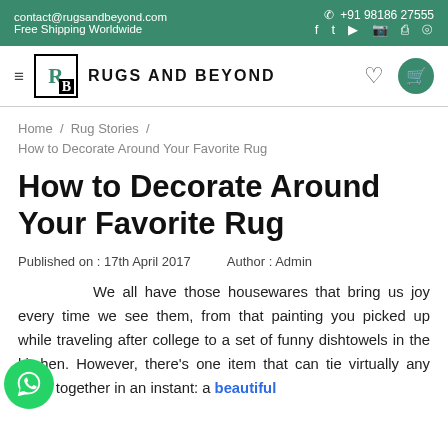contact@rugsandbeyond.com  Free Shipping Worldwide  | +91 98186 27555  | social icons
≡  RB  RUGS AND BEYOND  | heart | cart
Home / Rug Stories / How to Decorate Around Your Favorite Rug
How to Decorate Around Your Favorite Rug
Published on : 17th April 2017     Author : Admin
We all have those housewares that bring us joy every time we see them, from that painting you picked up while traveling after college to a set of funny dishtowels in the kitchen. However, there's one item that can tie virtually any room together in an instant: a beautiful